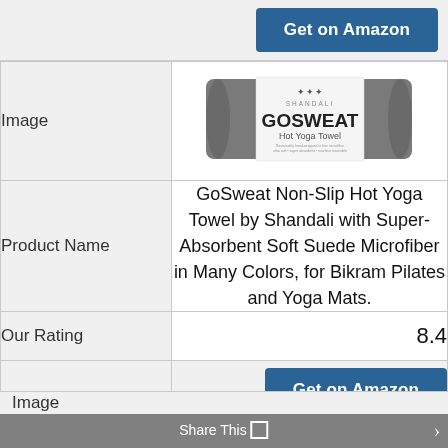| Image | [GoSweat product image] |
| Product Name | GoSweat Non-Slip Hot Yoga Towel by Shandali with Super-Absorbent Soft Suede Microfiber in Many Colors, for Bikram Pilates and Yoga Mats. |
| Our Rating | 8.4 |
|  | Get on Amazon |
Share This
Image